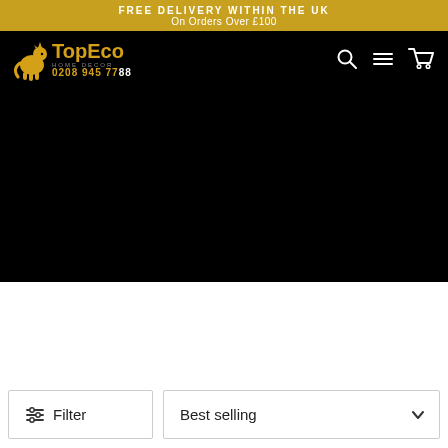FREE DELIVERY WITHIN THE UK
On Orders Over £100
[Figure (logo): TopEco Home Decor logo with golden unicorn, brand name 'TopEco', tagline 'HOME DECOR', phone number 0208 945 7788]
[Figure (screenshot): Navigation bar icons: search magnifier, navigation/menu lines, shopping cart]
[Figure (photo): Large black hero banner image area]
Filter
Best selling